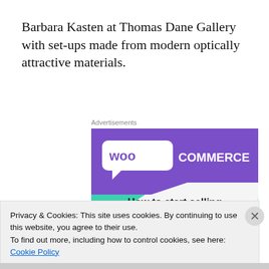Barbara Kasten at Thomas Dane Gallery with set-ups made from modern optically attractive materials.
Advertisements
[Figure (screenshot): WooCommerce advertisement banner showing logo on purple background with teal triangle shape and text 'How to start selling subscriptions online']
Privacy & Cookies: This site uses cookies. By continuing to use this website, you agree to their use.
To find out more, including how to control cookies, see here: Cookie Policy
Close and accept